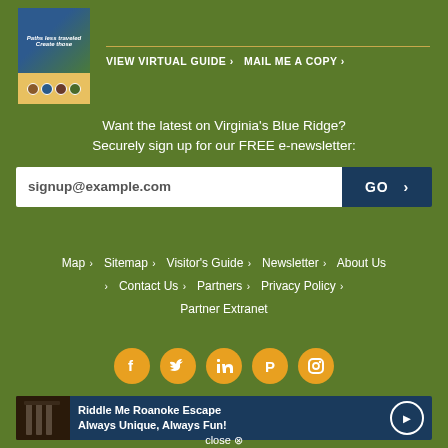[Figure (illustration): Visitor's Guide booklet thumbnail showing mountain landscape and circular photo badges]
VIEW VIRTUAL GUIDE > MAIL ME A COPY >
Want the latest on Virginia's Blue Ridge?
Securely sign up for our FREE e-newsletter:
signup@example.com   GO >
Map > Sitemap > Visitor's Guide > Newsletter > About Us > Contact Us > Partners > Privacy Policy > Partner Extranet
[Figure (infographic): Social media icon buttons: Facebook, Twitter, LinkedIn, Pinterest, Instagram — orange circles]
[Figure (photo): Banner ad: Riddle Me Roanoke Escape — Always Unique, Always Fun!]
close